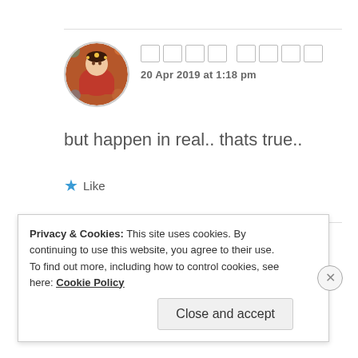[Figure (photo): Circular avatar of a woman in traditional Indian bridal attire with colorful decorations]
[non-Latin name characters] 20 Apr 2019 at 1:18 pm
but happen in real.. thats true..
★ Like
Privacy & Cookies: This site uses cookies. By continuing to use this website, you agree to their use. To find out more, including how to control cookies, see here: Cookie Policy
Close and accept